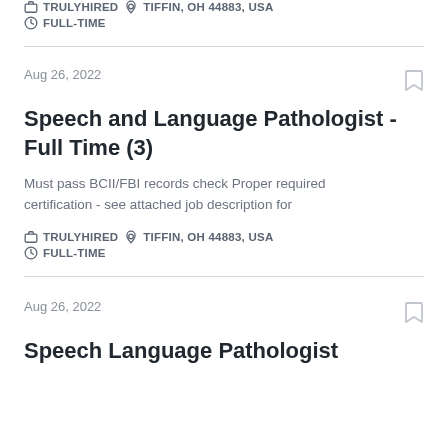TRULYHIRED   TIFFIN, OH 44883, USA   FULL-TIME
Aug 26, 2022
Speech and Language Pathologist - Full Time (3)
Must pass BCII/FBI records check Proper required certification - see attached job description for
TRULYHIRED   TIFFIN, OH 44883, USA   FULL-TIME
Aug 26, 2022
Speech Language Pathologist